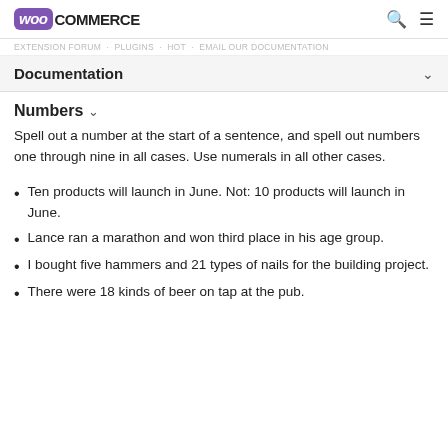WooCommerce
EXTENSION FORUM · PLUGINS · HOT · EMAIL OUR DOCUMENTATION
Documentation
Numbers
Spell out a number at the start of a sentence, and spell out numbers one through nine in all cases. Use numerals in all other cases.
Ten products will launch in June. Not: 10 products will launch in June.
Lance ran a marathon and won third place in his age group.
I bought five hammers and 21 types of nails for the building project.
There were 18 kinds of beer on tap at the pub.